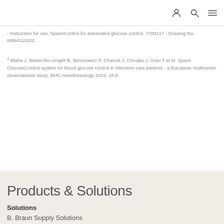[navigation icons: user, search, menu]
- Instruction for use, SpaceControl for automated glucose control, 7700117 - Drawing No. I9994110202
2 Blaha J, Barteczko-Grajek B, Berezowicz P, Charvat J, Chvojka J, Grau T et al. Space GlucoseControl system for blood glucose control in intensive care patients - a European multicentre observational study. BMC Anesthesiology 2016; 16;8.
Products & Solutions
Solutions
B. Braun Supply Solutions